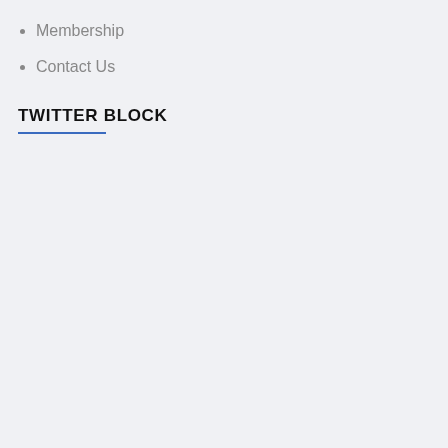Membership
Contact Us
TWITTER BLOCK